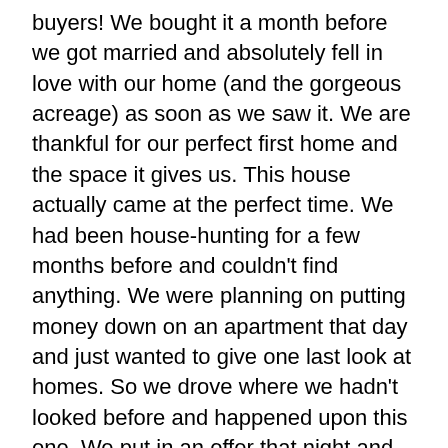buyers! We bought it a month before we got married and absolutely fell in love with our home (and the gorgeous acreage) as soon as we saw it. We are thankful for our perfect first home and the space it gives us. This house actually came at the perfect time. We had been house-hunting for a few months before and couldn't find anything. We were planning on putting money down on an apartment that day and just wanted to give one last look at homes. So we drove where we hadn't looked before and happened upon this one. We put in an offer that night and the deal went through in a matter of days! We are very blessed! We are celebrating two years of homeownership this July!